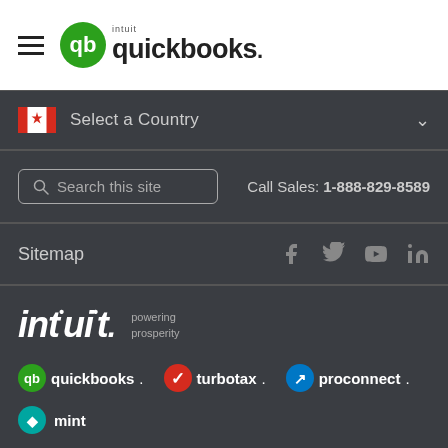[Figure (logo): QuickBooks by Intuit logo with hamburger menu icon at top left on white background]
Select a Country
Search this site   Call Sales: 1-888-829-8589
Sitemap
[Figure (logo): Intuit powering prosperity wordmark with QuickBooks, TurboTax, ProConnect, and Mint brand logos]